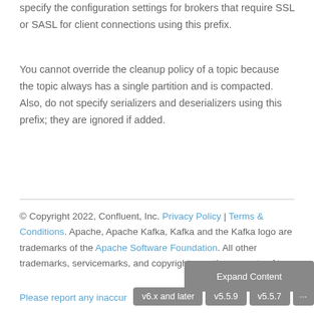specify the configuration settings for brokers that require SSL or SASL for client connections using this prefix.
You cannot override the cleanup policy of a topic because the topic always has a single partition and is compacted. Also, do not specify serializers and deserializers using this prefix; they are ignored if added.
© Copyright 2022, Confluent, Inc. Privacy Policy | Terms & Conditions. Apache, Apache Kafka, Kafka and the Kafka logo are trademarks of the Apache Software Foundation. All other trademarks, servicemarks, and copyrights are the property of their respective owners.
Please report any inaccuracies on this page or suggest an edit.